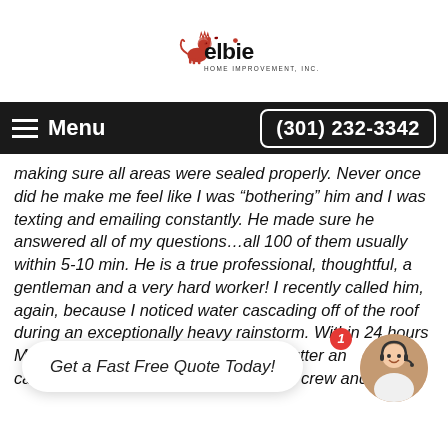[Figure (logo): Elbie Home Improvement Inc. logo with red lion rampant and company name text]
Menu  (301) 232-3342
making sure all areas were sealed properly. Never once did he make me feel like I was “bothering” him and I was texting and emailing constantly. He made sure he answered all of my questions…all 100 of them usually within 5-10 min. He is a true professional, thoughtful, a gentleman and a very hard worker! I recently called him, again, because I noticed water cascading off of the roof during an exceptionally heavy rainstorm. Within 24 hours Mike was there, and in its determin... tly gutter an... g it. cannot say enough about Mike and his crew and highly
[Figure (other): Chat widget overlay with notification badge showing '1', close button 'x', bubble text 'Get a Fast Free Quote Today!', and customer service avatar photo]